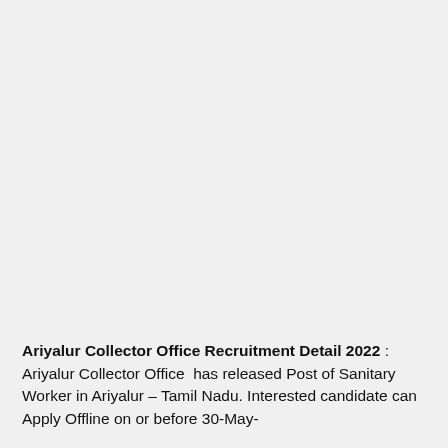Ariyalur Collector Office Recruitment Detail 2022 : Ariyalur Collector Office  has released Post of Sanitary Worker in Ariyalur – Tamil Nadu. Interested candidate can Apply Offline on or before 30-May-